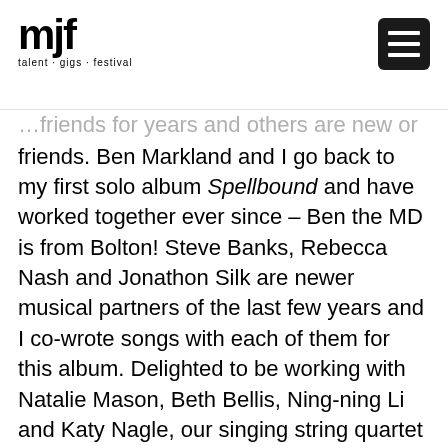mjf — talent · gigs · festival
...friends for years and others are new or friends. Ben Markland and I go back to my first solo album Spellbound and have worked together ever since – Ben the MD is from Bolton! Steve Banks, Rebecca Nash and Jonathon Silk are newer musical partners of the last few years and I co-wrote songs with each of them for this album. Delighted to be working with Natalie Mason, Beth Bellis, Ning-ning Li and Katy Nagle, our singing string quartet and we also have the most fabulous Percy Pursglove with us. Finally (it's a big band!) Anthony Marsden will bring his incredibly gorgeous and individual voice to the songs too